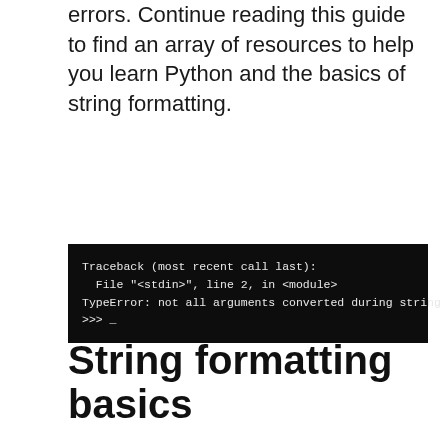errors. Continue reading this guide to find an array of resources to help you learn Python and the basics of string formatting.
[Figure (screenshot): Terminal screenshot showing a Python traceback error: 'Traceback (most recent call last): File "<stdin>", line 2, in <module> TypeError: not all arguments converted during string formatting >>> _']
String formatting basics